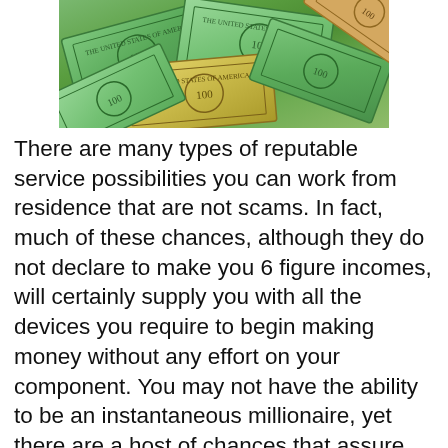[Figure (photo): A pile of US 100 dollar bills scattered and overlapping each other, photographed from above.]
There are many types of reputable service possibilities you can work from residence that are not scams. In fact, much of these chances, although they do not declare to make you 6 figure incomes, will certainly supply you with all the devices you require to begin making money without any effort on your component. You may not have the ability to be an instantaneous millionaire, yet there are a host of chances that assure you will make adequate money to manage as well as provide for your family members. Below are some examples of work at home based business opportunities where you don't need an upfront investment of money